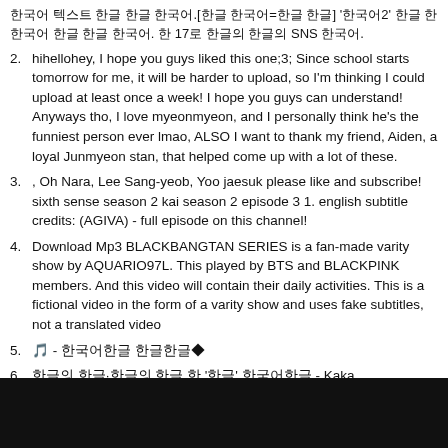한국어 텍스트 한글 한글 한국어.[한글 한국어=한글 한글] '한국어2' 한글 한 한국어 한글 한글 한국어. 한 17로 한글의 한글의 SNS 한국어.
hihellohey, I hope you guys liked this one;3; Since school starts tomorrow for me, it will be harder to upload, so I'm thinking I could upload at least once a week! I hope you guys can understand! Anyways tho, I love myeonmyeon, and I personally think he's the funniest person ever lmao, ALSO I want to thank my friend, Aiden, a loyal Junmyeon stan, that helped come up with a lot of these.
, Oh Nara, Lee Sang-yeob, Yoo jaesuk please like and subscribe! sixth sense season 2 kai season 2 episode 3 1. english subtitle credits: (AGIVA) - full episode on this channel!
Download Mp3 BLACKBANGTAN SERIES is a fan-made varity show by AQUARIO97L. This played by BTS and BLACKPINK members. And this video will contain their daily activities. This is a fictional video in the form of a varity show and uses fake subtitles, not a translated video
🎵 - 한국어한글 한글한글◆
한글의 한글·한글의 한글 한 '한글' 한국어한글 - Kaka
[Figure (photo): Dark/black image at the bottom of the page, appears to be a video thumbnail]